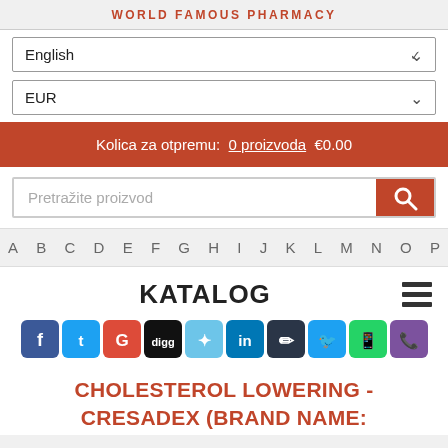WORLD FAMOUS PHARMACY
English
EUR
Kolica za otpremu: 0 proizvoda €0.00
Pretražite proizvod
A B C D E F G H I J K L M N O P
KATALOG
[Figure (other): Social media share icons: Facebook, Twitter, Google+, Digg, StumbleUpon, LinkedIn, Pinboard, Twitter, WhatsApp, Viber]
CHOLESTEROL LOWERING - CRESADEX (BRAND NAME: